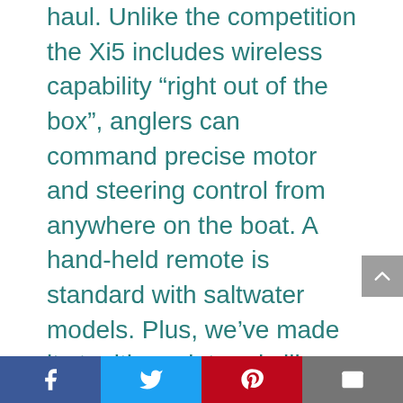haul. Unlike the competition the Xi5 includes wireless capability “right out of the box”, anglers can command precise motor and steering control from anywhere on the boat. A hand-held remote is standard with saltwater models. Plus, we’ve made it stealthy quiet and silky smooth. And you’ll also see thoughtful details that make it safe and easy to use.
[Figure (other): Social media share buttons footer bar: Facebook (blue), Twitter (light blue), Pinterest (red), Email (grey)]